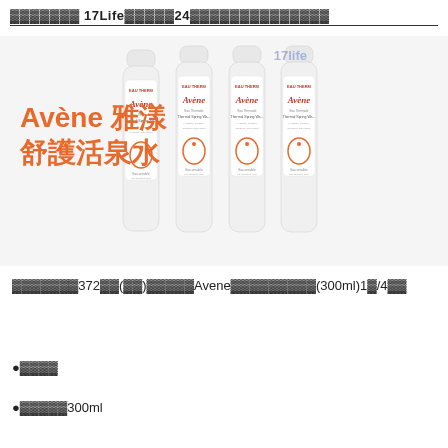▓▓▓▓▓▓▓ 17Life▓▓▓▓▓▓24▓▓▓▓▓▓▓▓▓▓▓▓▓▓
[Figure (photo): Four Avène Eau Thermale Thermal Spring Water spray bottles (300ml) arranged side by side with 17Life watermark in top right]
Avène 雅漾
舒護活泉水
▓▓▓▓▓▓▓372▓▓(▓▓)▓▓▓▓▓Avene▓▓▓▓▓▓▓▓▓(300ml)1▓/4▓▓
●▓▓▓▓
●▓▓▓▓▓300ml